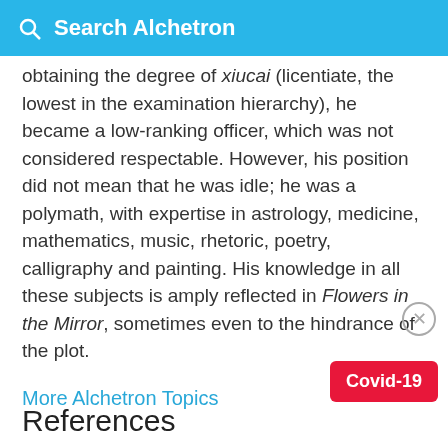Search Alchetron
obtaining the degree of xiucai (licentiate, the lowest in the examination hierarchy), he became a low-ranking officer, which was not considered respectable. However, his position did not mean that he was idle; he was a polymath, with expertise in astrology, medicine, mathematics, music, rhetoric, poetry, calligraphy and painting. His knowledge in all these subjects is amply reflected in Flowers in the Mirror, sometimes even to the hindrance of the plot.
More Alchetron Topics
References